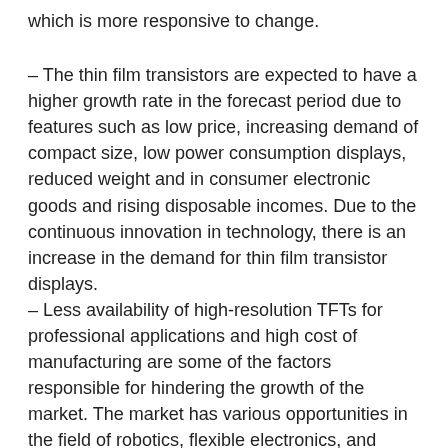which is more responsive to change.
– The thin film transistors are expected to have a higher growth rate in the forecast period due to features such as low price, increasing demand of compact size, low power consumption displays, reduced weight and in consumer electronic goods and rising disposable incomes. Due to the continuous innovation in technology, there is an increase in the demand for thin film transistor displays.
– Less availability of high-resolution TFTs for professional applications and high cost of manufacturing are some of the factors responsible for hindering the growth of the market. The market has various opportunities in the field of robotics, flexible electronics, and medical science. The excellent growth potential in emerging economies is also expected to drive the market.
– TFT technology is investigated for use in microelectronic devices, X-ray detection, biochemical sensing, and chemical sensing. The technology offers advantages such as low power consumption, low cost, better response time, and faster refresh